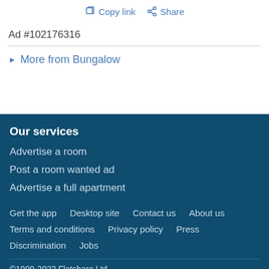Copy link  Share
Ad #102176316
▶ More from Bungalow
Our services
Advertise a room
Post a room wanted ad
Advertise a full apartment
Get the app   Desktop site   Contact us   About us   Terms and conditions   Privacy policy   Press   Discrimination   Jobs
©1999-2022 Flatshare Ltd.